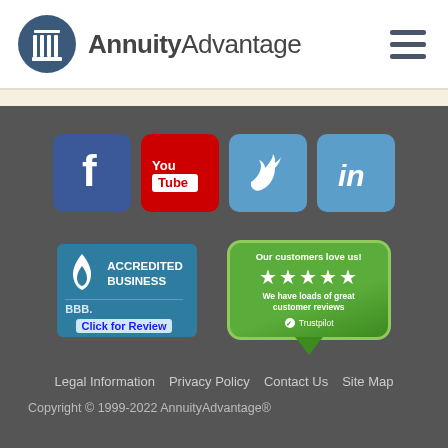[Figure (logo): AnnuityAdvantage logo with column icon in dark blue circle and brand name text]
[Figure (infographic): Social media icons: Facebook (blue), YouTube (red), Twitter (light blue), LinkedIn (light blue)]
[Figure (infographic): BBB Accredited Business badge with 'Click for Review' text]
[Figure (infographic): Trustpilot green badge: 'Our customers love us!' with 5 stars and 'We have loads of great customer reviews']
Legal Information   Privacy Policy   Contact Us   Site Map
Copyright © 1999-2022 AnnuityAdvantage®